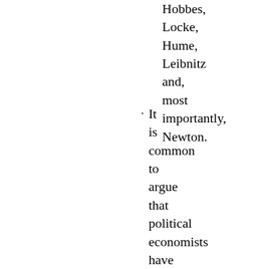Hobbes, Locke, Hume, Leibnitz and, most importantly, Newton.
It is common to argue that political economists have borrowed their metaphors and methods from the